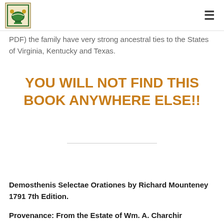[Logo] [Hamburger menu]
PDF) the family have very strong ancestral ties to the States of Virginia, Kentucky and Texas.
YOU WILL NOT FIND THIS BOOK ANYWHERE ELSE!!
Demosthenis Selectae Orationes by Richard Mounteney 1791 7th Edition.
Provenance: From the Estate of Wm. A. Charchir...